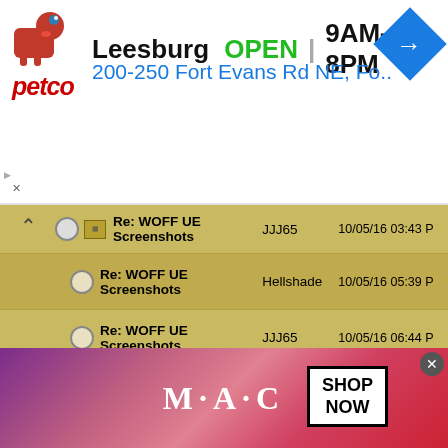[Figure (screenshot): Petco advertisement banner showing store location in Leesburg, OPEN 9AM-8PM, address 200-250 Fort Evans Rd NE, Fo.. with navigation arrow icon]
Re: WOFF UE Screenshots | JJJ65 | 10/05/16 03:43 PM
Re: WOFF UE Screenshots | Hellshade | 10/05/16 05:39 PM
Re: WOFF UE Screenshots | JJJ65 | 10/05/16 06:44 PM
Re: WOFF UE Screenshots | Hellshade | 10/06/16 01:15 AM
Re: WOFF UE Screenshots | OvStachel | 10/06/16 01:58 AM
Re: WOFF UE Screenshots | Olham | 10/06/16 06:43 AM
Re: WOFF UE Screenshots | manfas | 10/06/16 08:11 AM
Re: WOFF UE | Olham | 10/06/16 10:.. AM
[Figure (screenshot): MAC cosmetics advertisement showing lipsticks and SHOP NOW button]